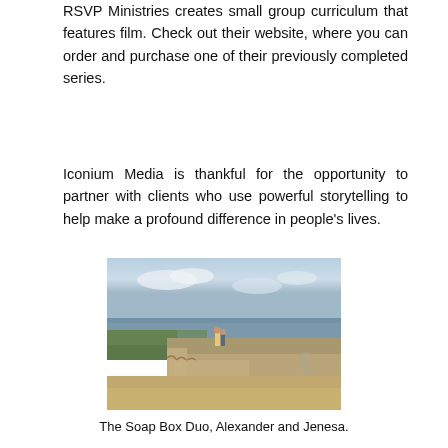RSVP Ministries creates small group curriculum that features film. Check out their website, where you can order and purchase one of their previously completed series.
Iconium Media is thankful for the opportunity to partner with clients who use powerful storytelling to help make a profound difference in people's lives.
[Figure (photo): Two people standing together on a concrete structure above a waterway or canal, with sandy/rocky terrain visible and a wide sky in the background.]
The Soap Box Duo, Alexander and Jenesa.